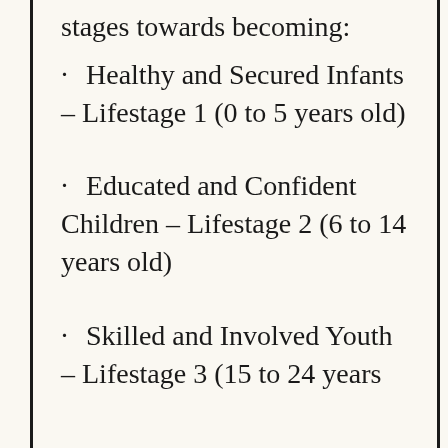stages towards becoming:
Healthy and Secured Infants – Lifestage 1 (0 to 5 years old)
Educated and Confident Children – Lifestage 2 (6 to 14 years old)
Skilled and Involved Youth – Lifestage 3 (15 to 24 years